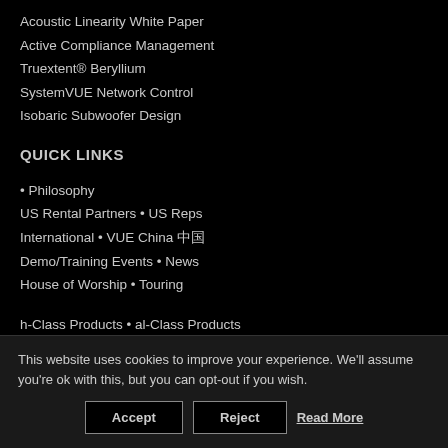Acoustic Linearity White Paper
Active Compliance Management
Truextent® Beryllium
SystemVUE Network Control
Isobaric Subwoofer Design
QUICK LINKS
• Philosophy
US Rental Partners • US Reps
International • VUE China 中国
Demo/Training Events • News
House of Worship • Touring
h-Class Products • al-Class Products
e-Class Products • a-Class Products
This website uses cookies to improve your experience. We'll assume you're ok with this, but you can opt-out if you wish.
Accept  Reject  Read More